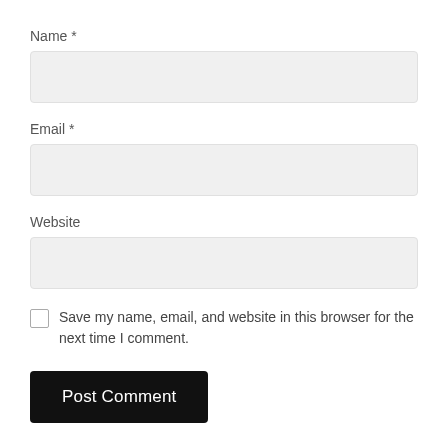Name *
[Figure (other): Empty text input field for Name]
Email *
[Figure (other): Empty text input field for Email]
Website
[Figure (other): Empty text input field for Website]
Save my name, email, and website in this browser for the next time I comment.
Post Comment